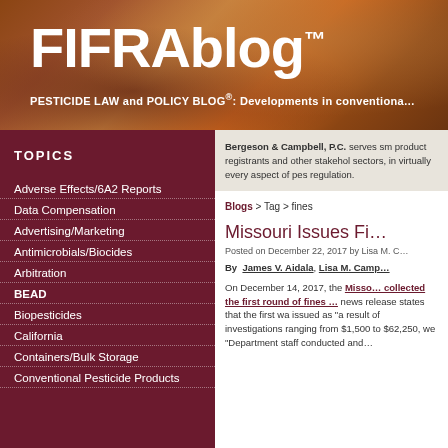FIFRAblog™ — PESTICIDE LAW and POLICY BLOG®: Developments in conventional...
TOPICS
Adverse Effects/6A2 Reports
Data Compensation
Advertising/Marketing
Antimicrobials/Biocides
Arbitration
BEAD
Biopesticides
California
Containers/Bulk Storage
Conventional Pesticide Products
Bergeson & Campbell, P.C. serves sm product registrants and other stakeholders sectors, in virtually every aspect of pest regulation.
Blogs > Tag > fines
Missouri Issues Fi...
Posted on December 22, 2017 by Lisa M. C...
By  James V. Aidala, Lisa M. Camp...
On December 14, 2017, the Misso... collected the first round of fines ... news release states that the first wa issued as "a result of investigations ranging from $1,500 to $62,250, we "Department staff conducted and...